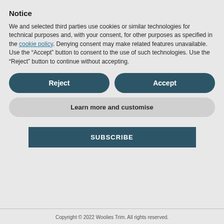Notice
We and selected third parties use cookies or similar technologies for technical purposes and, with your consent, for other purposes as specified in the cookie policy. Denying consent may make related features unavailable.
Use the “Accept” button to consent to the use of such technologies. Use the “Reject” button to continue without accepting.
Reject
Accept
Learn more and customise
SUBSCRIBE
Copyright © 2022 Woolies Trim. All rights reserved.